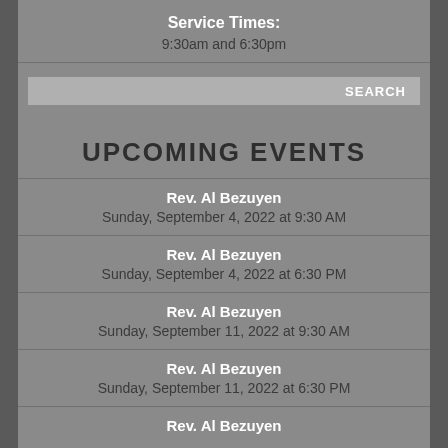Service Times:
9:30am and 6:30pm
[Figure (screenshot): Search bar with SEARCH button on right]
UPCOMING EVENTS
Rev. Al Bezuyen
Sunday, September 4, 2022 at 9:30 AM
Rev. Al Bezuyen
Sunday, September 4, 2022 at 6:30 PM
Rev. Al Bezuyen
Sunday, September 11, 2022 at 9:30 AM
Rev. Al Bezuyen
Sunday, September 11, 2022 at 6:30 PM
Rev. Al Bezuyen